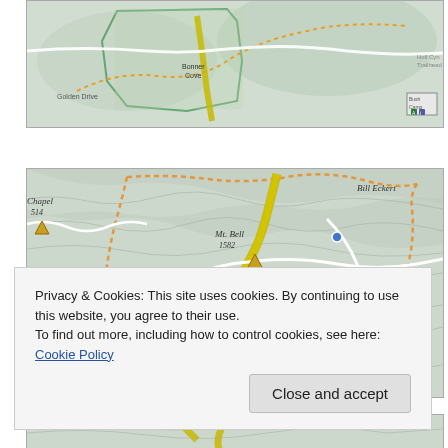[Figure (map): Topographic trail map showing park area with dotted orange trails, yellow highlighted route, green park boundary, and labeled features including Bonner Cove and various park roads]
[Figure (map): Topographic trail map showing Griffith Park area with Mt. Bell (1582), Chapel (514), Mt. Hollywood, 3-Mile Tree, Mt. Hollywood Drive, 3-Mile Trail, Bill Eckert trail, Spring area, with yellow highlighted trail and orange dotted boundary]
Privacy & Cookies: This site uses cookies. By continuing to use this website, you agree to their use.
To find out more, including how to control cookies, see here: Cookie Policy
Close and accept
[Figure (map): Bottom portion of topographic trail map, partially visible]